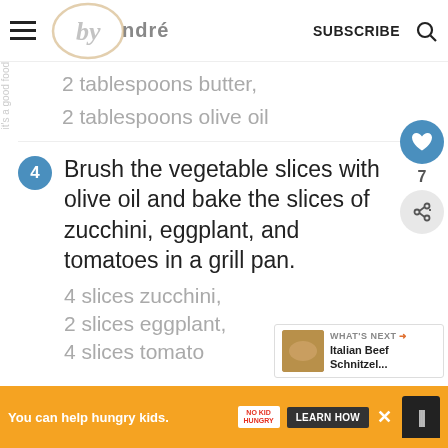Navigation bar with hamburger menu, logo (by Andrea), SUBSCRIBE, search icon
2 tablespoons butter,
2 tablespoons olive oil
4  Brush the vegetable slices with olive oil and bake the slices of zucchini, eggplant, and tomatoes in a grill pan.
4 slices zucchini,
2 slices eggplant,
4 slices tomato
WHAT'S NEXT → Italian Beef Schnitzel...
You can help hungry kids. NO KID HUNGRY LEARN HOW